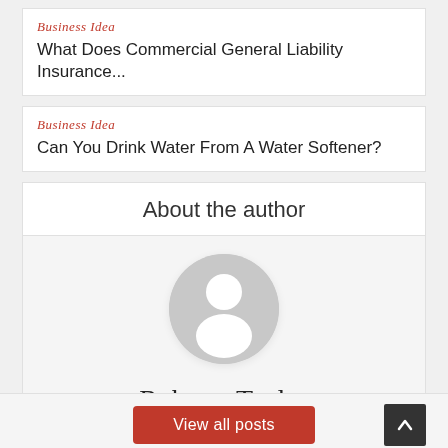Business Idea
What Does Commercial General Liability Insurance...
Business Idea
Can You Drink Water From A Water Softener?
About the author
[Figure (illustration): Default user avatar placeholder: a grey circle with a white silhouette of a person (head and shoulders)]
Roberto Taylor
View all posts